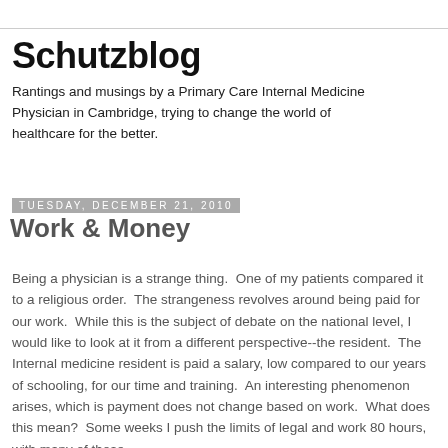Schutzblog
Rantings and musings by a Primary Care Internal Medicine Physician in Cambridge, trying to change the world of healthcare for the better.
Tuesday, December 21, 2010
Work & Money
Being a physician is a strange thing.  One of my patients compared it to a religious order.  The strangeness revolves around being paid for our work.  While this is the subject of debate on the national level, I would like to look at it from a different perspective--the resident.  The Internal medicine resident is paid a salary, low compared to our years of schooling, for our time and training.  An interesting phenomenon arises, which is payment does not change based on work.  What does this mean?  Some weeks I push the limits of legal and work 80 hours, with many of those